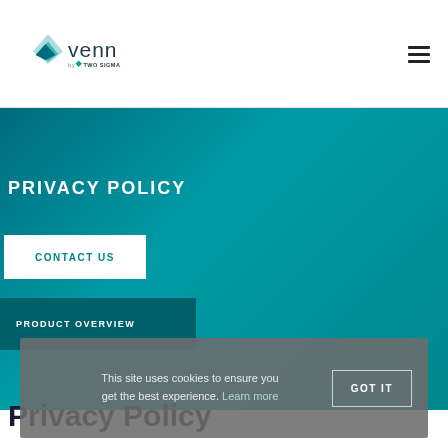Venn by Two Sigma
[Figure (logo): Venn by Two Sigma logo with teal diamond/triangle icon and 'venn by TWO SIGMA' wordmark]
PRIVACY POLICY
CONTACT US
PRODUCT OVERVIEW
This site uses cookies to ensure you get the best experience. Learn more
GOT IT
Privacy Policy